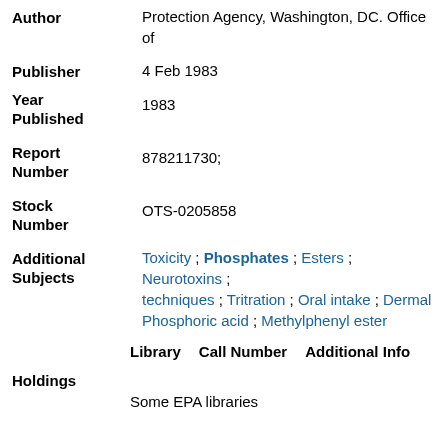Author: Protection Agency, Washington, DC. Office of
Publisher: 4 Feb 1983
Year Published: 1983
Report Number: 878211730;
Stock Number: OTS-0205858
Additional Subjects: Toxicity ; Phosphates ; Esters ; Neurotoxins ; techniques ; Tritration ; Oral intake ; Dermal Phosphoric acid ; Methylphenyl ester
Library   Call Number   Additional Info
Holdings
Some EPA libraries